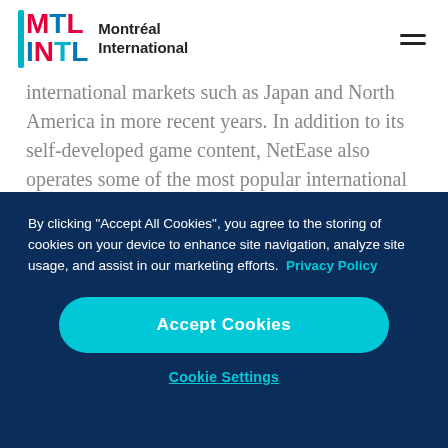[Figure (logo): MTL INTL Montréal International logo with colored letters and teal accent bar]
international markets such as Japan and North America in more recent years. In addition to its self-developed game content, NetEase also operates some of the most popular international online games in China by partnering with Blizzard
By clicking "Accept All Cookies", you agree to the storing of cookies on your device to enhance site navigation, analyze site usage, and assist in our marketing efforts.  Privacy Policy
Accept Cookies
Cookie Settings